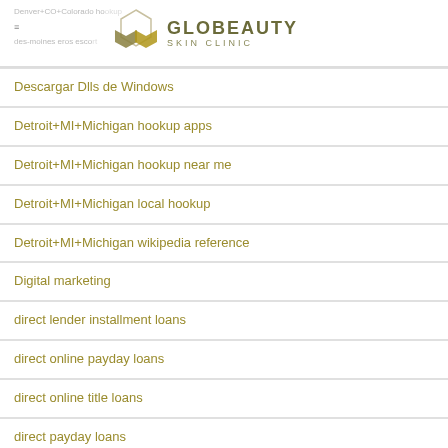Denver+CO+Colorado hookup | Globeauty Skin Clinic | des-moines eros escort
Descargar Dlls de Windows
Detroit+MI+Michigan hookup apps
Detroit+MI+Michigan hookup near me
Detroit+MI+Michigan local hookup
Detroit+MI+Michigan wikipedia reference
Digital marketing
direct lender installment loans
direct online payday loans
direct online title loans
direct payday loans